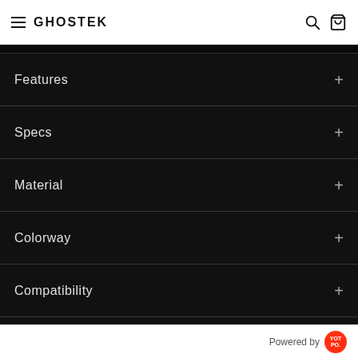GHOSTEK
Features
Specs
Material
Colorway
Compatibility
Video
Powered by YOTPO